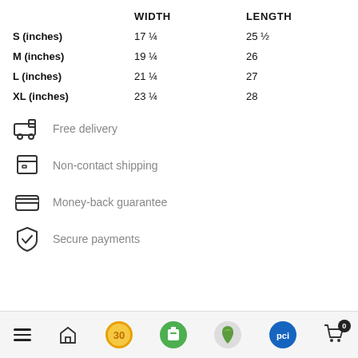|  | WIDTH | LENGTH |
| --- | --- | --- |
| S (inches) | 17 ¼ | 25 ½ |
| M (inches) | 19 ¼ | 26 |
| L (inches) | 21 ¼ | 27 |
| XL (inches) | 23 ¼ | 28 |
Free delivery
Non-contact shipping
Money-back guarantee
Secure payments